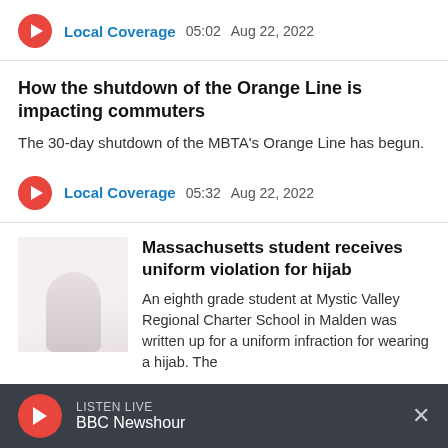Local Coverage  05:02  Aug 22, 2022
How the shutdown of the Orange Line is impacting commuters
The 30-day shutdown of the MBTA's Orange Line has begun.
Local Coverage  05:32  Aug 22, 2022
[Figure (photo): Thumbnail image of a white hijab on light background]
Massachusetts student receives uniform violation for hijab
An eighth grade student at Mystic Valley Regional Charter School in Malden was written up for a uniform infraction for wearing a hijab. The
LISTEN LIVE  BBC Newshour